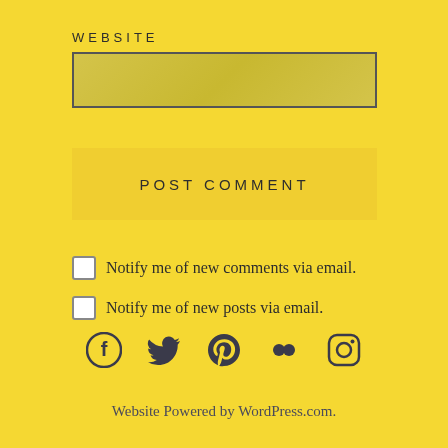WEBSITE
[Figure (screenshot): Website URL input text field with golden/olive background]
POST COMMENT
Notify me of new comments via email.
Notify me of new posts via email.
[Figure (infographic): Social media icons: Facebook, Twitter, Pinterest, Flickr, Instagram]
Website Powered by WordPress.com.